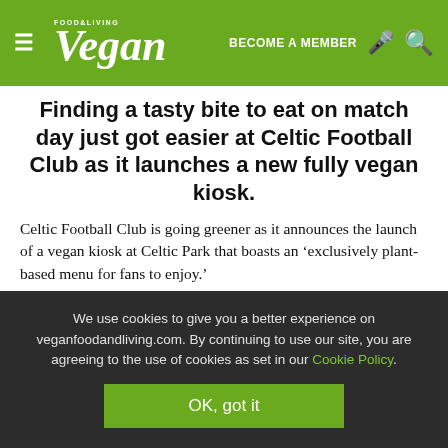Vegan Food & Living — BECOME A MEMBER
Finding a tasty bite to eat on match day just got easier at Celtic Football Club as it launches a new fully vegan kiosk.
Celtic Football Club is going greener as it announces the launch of a vegan kiosk at Celtic Park that boasts an ‘exclusively plant-based menu for fans to enjoy.’
The kiosk, dubbed Hoops & Roots, opened over the weekend (February 21st) and is located in Section 137 in the Jack Stein Stand…
We use cookies to give you a better experience on veganfoodandliving.com. By continuing to use our site, you are agreeing to the use of cookies as set in our Cookie Policy.
OK, got it